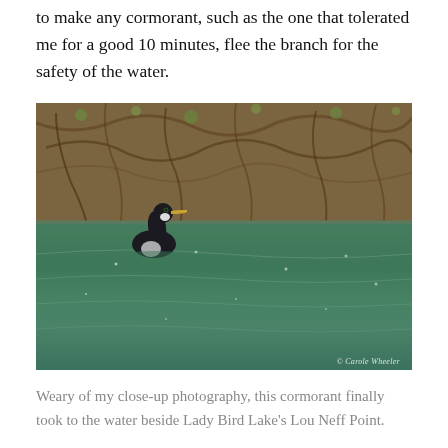to make any cormorant, such as the one that tolerated me for a good 10 minutes, flee the branch for the safety of the water.
[Figure (photo): A cormorant bird swimming on green water at Lady Bird Lake's Lou Neff Point, with tangled brown tree roots and vegetation in the background. Photo credit: © Carole Wheeler]
Weary of my close-up photography, this cormorant finally took to the water beside Lady Bird Lake's Lou Neff Point.
I can't wait to go kayaking again on Lady Bird Lake. I'm